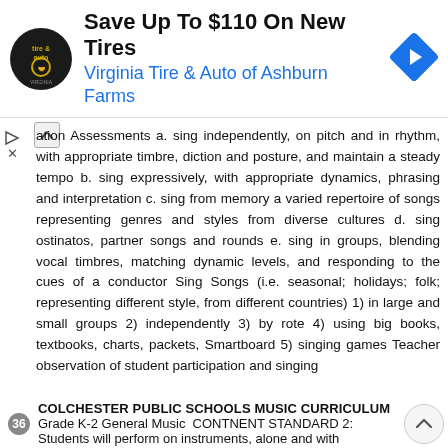[Figure (other): Advertisement banner: Virginia Tire & Auto of Ashburn Farms — Save Up To $110 On New Tires. Shows circular logo, text, and a blue diamond navigation icon.]
ation Assessments a. sing independently, on pitch and in rhythm, with appropriate timbre, diction and posture, and maintain a steady tempo b. sing expressively, with appropriate dynamics, phrasing and interpretation c. sing from memory a varied repertoire of songs representing genres and styles from diverse cultures d. sing ostinatos, partner songs and rounds e. sing in groups, blending vocal timbres, matching dynamic levels, and responding to the cues of a conductor Sing Songs (i.e. seasonal; holidays; folk; representing different style, from different countries) 1) in large and small groups 2) independently 3) by rote 4) using big books, textbooks, charts, packets, Smartboard 5) singing games Teacher observation of student participation and singing
36 COLCHESTER PUBLIC SCHOOLS MUSIC CURRICULUM Grade K-2 General Music CONTNENT STANDARD 2: Students will perform on instruments, alone and with